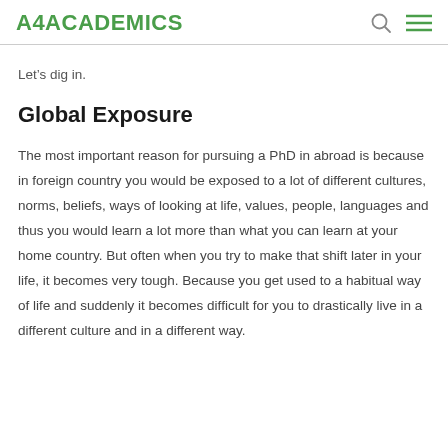A4ACADEMICS
Let's dig in.
Global Exposure
The most important reason for pursuing a PhD in abroad is because in foreign country you would be exposed to a lot of different cultures, norms, beliefs, ways of looking at life, values, people, languages and thus you would learn a lot more than what you can learn at your home country. But often when you try to make that shift later in your life, it becomes very tough. Because you get used to a habitual way of life and suddenly it becomes difficult for you to drastically live in a different culture and in a different way.